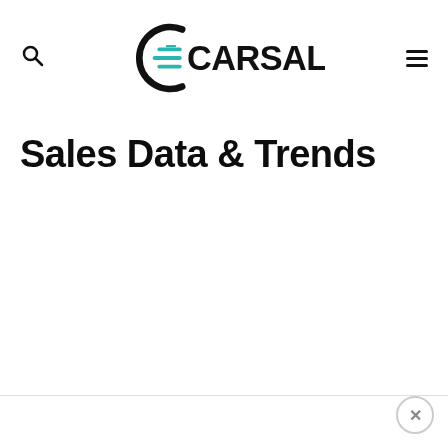CARSALESBASE.
Sales Data & Trends